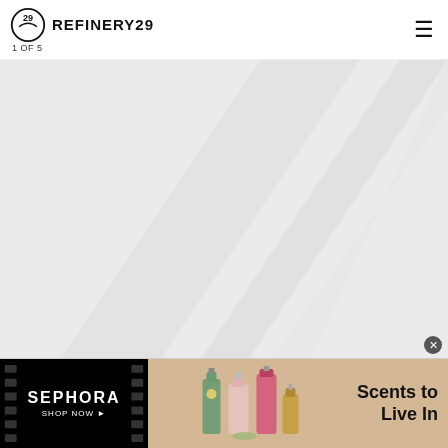REFINERY29  1 OF 5
[Figure (illustration): Large light grey area with diagonal white/light grey stripe pattern, representing a placeholder or loading image area.]
[Figure (photo): Sephora advertisement banner. Left side: black film-strip style panel with SEPHORA and SHOP NOW text in white. Right side: tan/beige background with perfume bottles and text 'Scents to Live In'.]